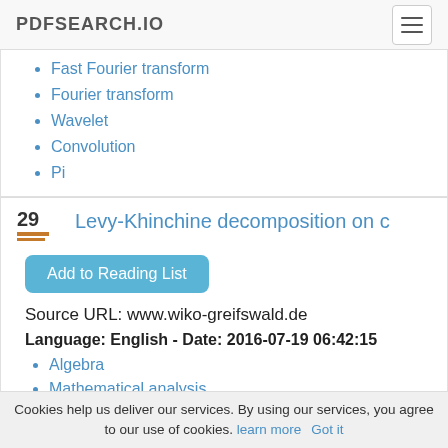PDFSEARCH.IO
Fast Fourier transform
Fourier transform
Wavelet
Convolution
Pi
29
Levy-Khinchine decomposition on c
Add to Reading List
Source URL: www.wiko-greifswald.de
Language: English - Date: 2016-07-19 06:42:15
Algebra
Mathematical analysis
Mathematics
Stochastic processes
Cookies help us deliver our services. By using our services, you agree to our use of cookies. learn more Got it